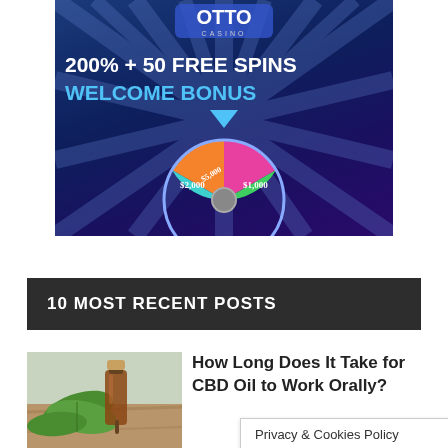[Figure (illustration): Casino advertisement banner showing 'OTTO CASINO' logo, '200% + 50 FREE SPINS WELCOME BONUS' text, a spinning prize wheel with values $2,000, $5,000, $1,000 on colored segments, and a downward blue arrow above the wheel. Dark blue radial burst background.]
10 MOST RECENT POSTS
[Figure (photo): Photo of a small amber glass dropper bottle with a wooden cap, surrounded by green cannabis/hemp leaves on a wooden surface.]
How Long Does It Take for CBD Oil to Work Orally?
Privacy & Cookies Policy